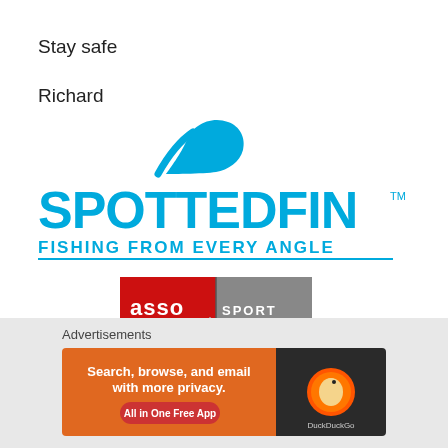Stay safe
Richard
[Figure (logo): SpottedFin logo — blue shark fin icon above the word SPOTTEDFIN in large bold cyan/blue text, with tagline FISHING FROM EVERY ANGLE underlined beneath, and TM mark]
[Figure (photo): ASSO Sport Fishing advertisement banner showing red and grey background with ASSO logo on left and SPORT FISHING text on right, with a Union Jack patterned fish lure in the foreground]
Advertisements
[Figure (screenshot): DuckDuckGo advertisement: orange background with white text 'Search, browse, and email with more privacy.' and 'All in One Free App' button, DuckDuckGo duck logo on dark background on the right side]